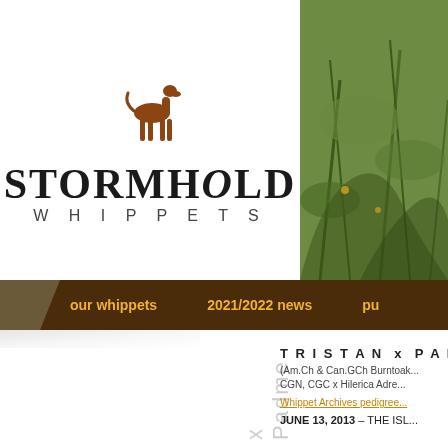[Figure (logo): Stormhold Whippets logo featuring a stylized greyhound/whippet dog silhouette in brown above the text STORMHOLD WHIPPETS]
[Figure (photo): Outdoor photo showing green vegetation, grass and shrubs]
our whippets   2021/2022 news   pu...
x Padme
T R I S T A N  x  P A D M E
(Am.Ch & Can.GCh Burntoak... CGN, CGC x Hilerica Adre...
Whippet Archives pedigree...
JUNE 13, 2013 – THE ISL...